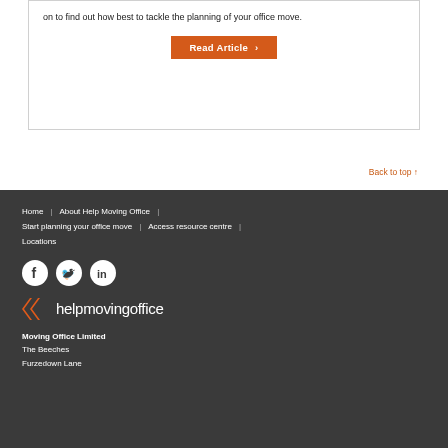on to find out how best to tackle the planning of your office move.
Read Article >
Back to top ↑
Home | About Help Moving Office | Start planning your office move | Access resource centre | Locations
[Figure (logo): helpmovingoffice logo with orange chevrons]
Moving Office Limited
The Beeches
Furzedown Lane